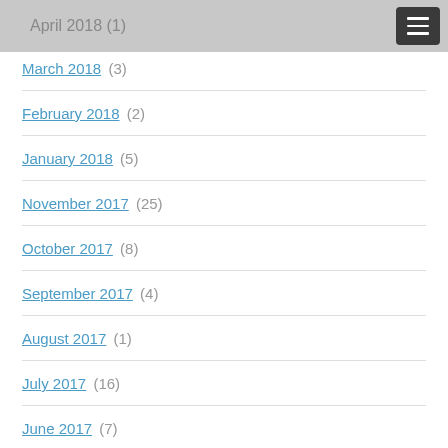April 2018 (1)
March 2018 (3)
February 2018 (2)
January 2018 (5)
November 2017 (25)
October 2017 (8)
September 2017 (4)
August 2017 (1)
July 2017 (16)
June 2017 (7)
May 2017 (3)